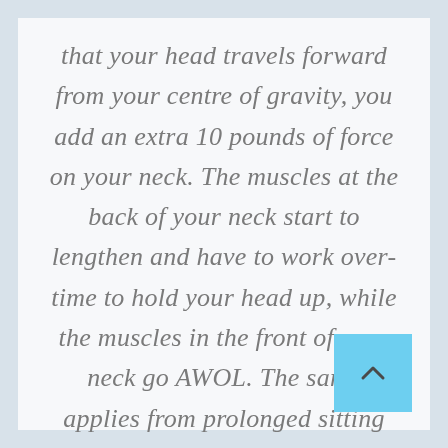that your head travels forward from your centre of gravity, you add an extra 10 pounds of force on your neck. The muscles at the back of your neck start to lengthen and have to work over-time to hold your head up, while the muscles in the front of your neck go AWOL. The same applies from prolonged sitting and inactivity to the muscles around your back and core.
[Figure (other): Light blue navigation button with an upward arrow icon in the bottom-right corner]